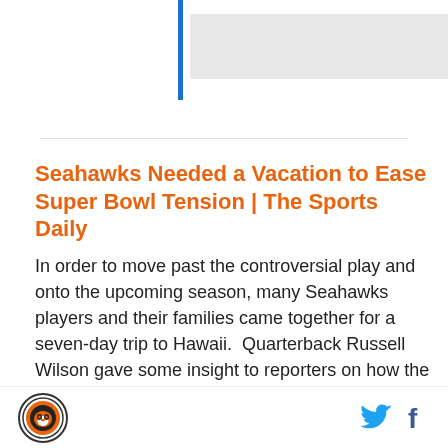[Figure (other): Blue vertical bar and gray search bar at top of page]
Seahawks Needed a Vacation to Ease Super Bowl Tension | The Sports Daily
In order to move past the controversial play and onto the upcoming season, many Seahawks players and their families came together for a seven-day trip to Hawaii.  Quarterback Russell Wilson gave some insight to reporters on how the time away was able to renew Seattle’s team chemistry.
Football by Football
When A.J. received the call from Cincinnati Bengals